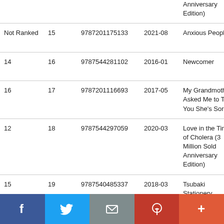| Rank (prev) | Rank (curr) | ISBN | Date | Title | Author |
| --- | --- | --- | --- | --- | --- |
|  |  |  |  | Anniversary Edition) | Murakami |
| Not Ranked | 15 | 9787201175133 | 2021-08 | Anxious People | Fredrik Backman |
| 14 | 16 | 9787544281102 | 2016-01 | Newcomer | Keigo Higashino |
| 16 | 17 | 9787201116693 | 2017-05 | My Grandmother Asked Me to Tell You She's Sorry | Fredrik Backman |
| 12 | 18 | 9787544297059 | 2020-03 | Love in the Time of Cholera (3 Million Sold Anniversary Edition) | Gabriel García Márquez |
| 15 | 19 | 9787540485337 | 2018-03 | Tsubaki Stationery | Ito ... |